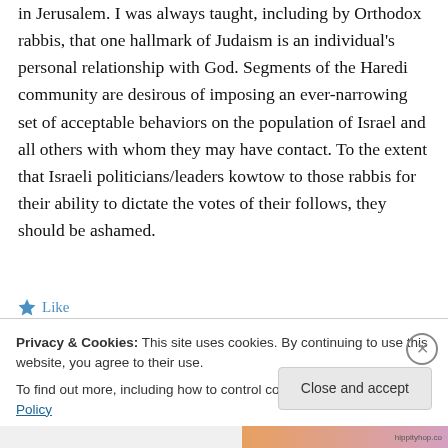in Jerusalem. I was always taught, including by Orthodox rabbis, that one hallmark of Judaism is an individual's personal relationship with God. Segments of the Haredi community are desirous of imposing an ever-narrowing set of acceptable behaviors on the population of Israel and all others with whom they may have contact. To the extent that Israeli politicians/leaders kowtow to those rabbis for their ability to dictate the votes of their follows, they should be ashamed.
Like
Privacy & Cookies: This site uses cookies. By continuing to use this website, you agree to their use.
To find out more, including how to control cookies, see here: Cookie Policy